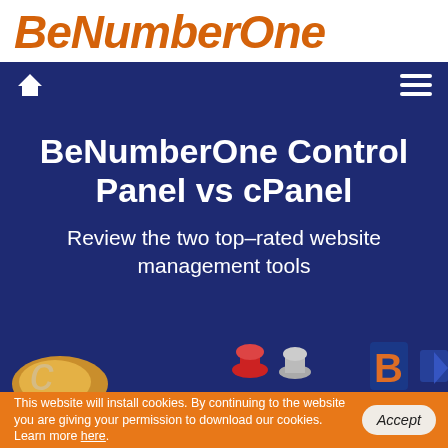BeNumberOne
[Figure (screenshot): Navigation bar with home icon on left and hamburger menu icon on right, dark navy blue background]
BeNumberOne Control Panel vs cPanel
Review the two top–rated website management tools
[Figure (screenshot): Partial bottom image strip showing website management tool logos/icons on dark navy background]
This website will install cookies. By continuing to the website you are giving your permission to download our cookies. Learn more here.